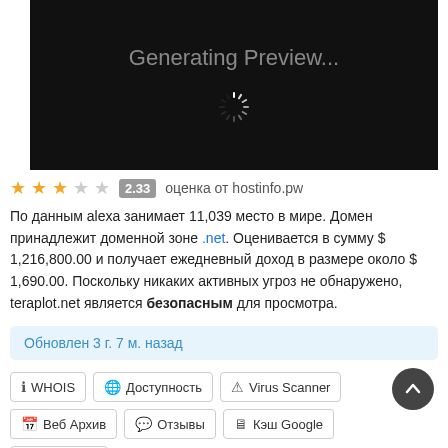[Figure (screenshot): Black preview box showing 'Generating Preview...' text with a loading spinner]
★★★☆☆ 2.33 оценка от hostinfo.pw
По данным alexa занимает 11,039 место в мире. Домен принадлежит доменной зоне .net. Оценивается в сумму $ 1,216,800.00 и получает ежедневный доход в размере около $ 1,690.00. Поскольку никаких активных угроз не обнаружено, teraplot.net является безопасным для просмотра.
Обновлен 3 г. 7 м. назад
WHOIS  Доступность  Virus Scanner  Веб Архив  Отзывы  Кэш Google  Обновить
IP сайта: 157.112.176.4  Страна: 🇯🇵 Japan
Дата регистрации домена: 2015-05-29
Посещаемость